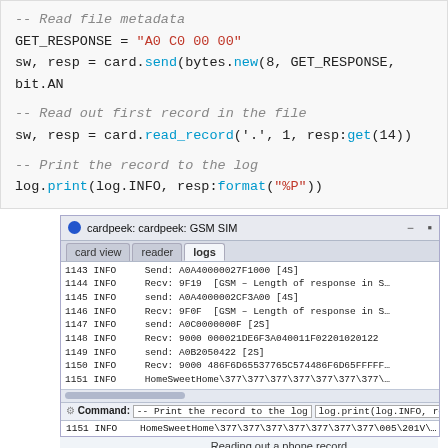-- Read file metadata
GET_RESPONSE = "A0 C0 00 00"
sw, resp = card.send(bytes.new(8, GET_RESPONSE, bit.AN
-- Read out first record in the file
sw, resp = card.read_record('.', 1, resp:get(14))
-- Print the record to the log
log.print(log.INFO, resp:format("%P"))
[Figure (screenshot): Cardpeek application window showing GSM SIM card log output with lines 1143-1151 of INFO messages including send/recv operations and HomeSweetHome data. Command bar shows log.print command. Status bar shows line 1151 HomeSweetHome data.]
Reading out a phone record
Note that instead of printing the output to the log via log.print you could box: